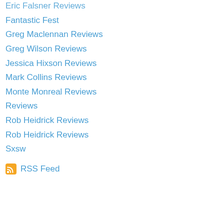Eric Falsner Reviews
Fantastic Fest
Greg Maclennan Reviews
Greg Wilson Reviews
Jessica Hixson Reviews
Mark Collins Reviews
Monte Monreal Reviews
Reviews
Rob Heidrick Reviews
Rob Heidrick Reviews
Sxsw
RSS Feed